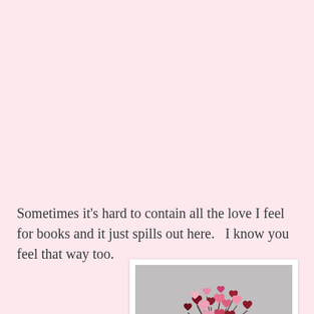Sometimes it's hard to contain all the love I feel for books and it just spills out here.   I know you feel that way too.
[Figure (photo): A photograph with white border showing a bouquet or arrangement of pink and dark red/maroon heart-shaped decorations on sticks against a grey background.]